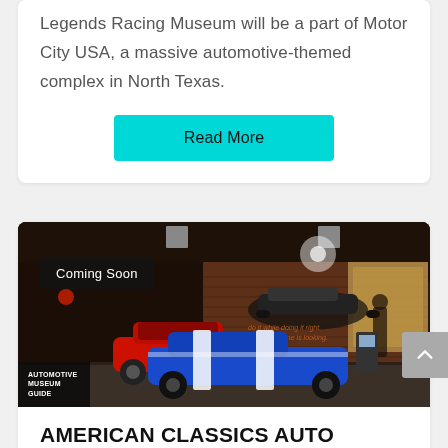Legends Racing Museum will be a part of Motor City USA, a massive automotive-themed complex in North Texas.
Read More
[Figure (photo): Interior rendering of a classic car museum showing vintage automobiles including a red convertible and a blue sports car with white stripes, displayed in a brick-walled showroom with overhead lighting. A 'Coming Soon' badge overlays the upper left. An 'Automotive Museum Guide' logo appears in the lower left corner.]
AMERICAN CLASSICS AUTO MUSEUM